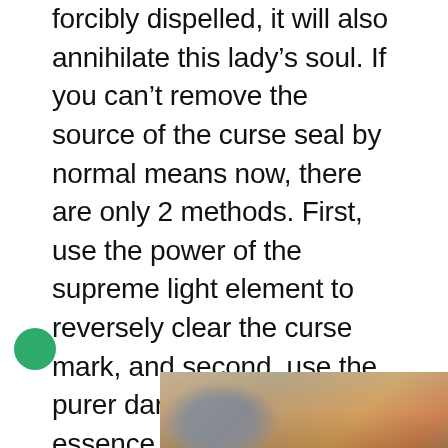forcibly dispelled, it will also annihilate this lady’s soul. If you can’t remove the source of the curse seal by normal means now, there are only 2 methods. First, use the power of the supreme light element to reversely clear the curse mark, and second, use the purer dark element’s essence power to devour the curse mark. Only the Light Elemental King and the Dark Elemental King can use these 2 methods. Relatively speaking. Obviously, finding the Dark Elemental King is the most practical way.”
[Figure (photo): Advertisement banner showing aircraft being loaded with cargo, with text overlay reading 'WITHOUT REGARD TO' in white on dark background on the right side.]